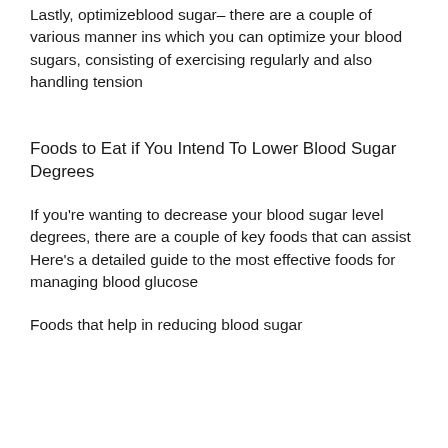Lastly, optimizeblood sugar– there are a couple of various manner ins which you can optimize your blood sugars, consisting of exercising regularly and also handling tension
Foods to Eat if You Intend To Lower Blood Sugar Degrees
If you're wanting to decrease your blood sugar level degrees, there are a couple of key foods that can assist Here's a detailed guide to the most effective foods for managing blood glucose
Foods that help in reducing blood sugar